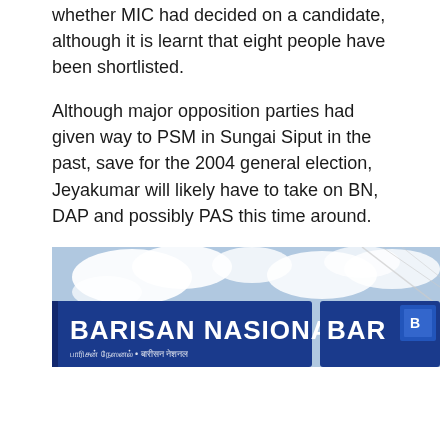whether MIC had decided on a candidate, although it is learnt that eight people have been shortlisted.
Although major opposition parties had given way to PSM in Sungai Siput in the past, save for the 2004 general election, Jeyakumar will likely have to take on BN, DAP and possibly PAS this time around.
[Figure (photo): A photograph showing a Barisan Nasional signboard/banner against a cloudy sky, with the text 'BARISAN NASIONAL' prominently displayed in white lettering on a blue background.]